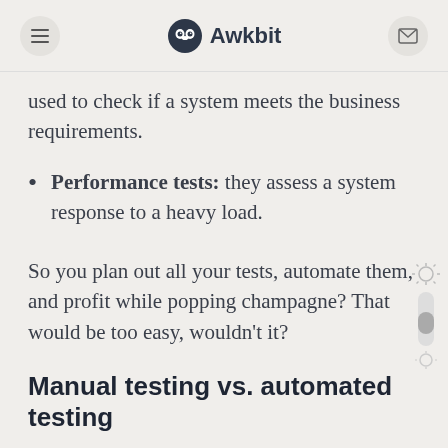Awkbit
used to check if a system meets the business requirements.
Performance tests: they assess a system response to a heavy load.
So you plan out all your tests, automate them, and profit while popping champagne? That would be too easy, wouldn't it?
Manual testing vs. automated testing
As discussed in a previous article, DevOps and automation, which...